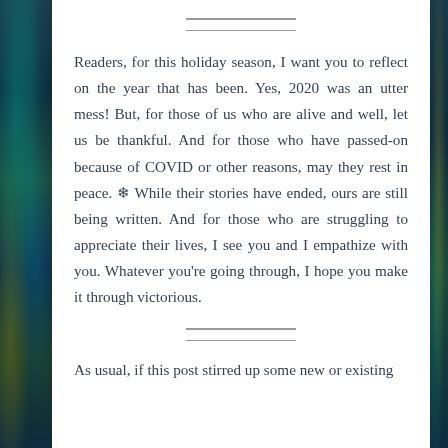Readers, for this holiday season, I want you to reflect on the year that has been. Yes, 2020 was an utter mess! But, for those of us who are alive and well, let us be thankful. And for those who have passed-on because of COVID or other reasons, may they rest in peace. ✿ While their stories have ended, ours are still being written. And for those who are struggling to appreciate their lives, I see you and I empathize with you. Whatever you’re going through, I hope you make it through victorious.
As usual, if this post stirred up some new or existing